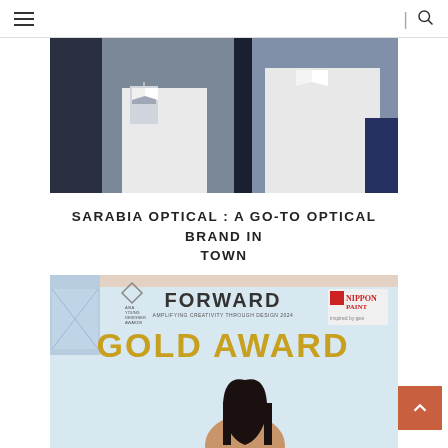Navigation bar with hamburger menu and search icon
[Figure (photo): Two people in white shirts/lab coats, one wearing an ID badge, dark background behind them — top portion of persons visible]
SARABIA OPTICAL: A GO-TO OPTICAL BRAND IN TOWN
[Figure (photo): Award certificate image showing 'FORWARD' text, Asia Young Designer Awards logo, Nippon Paint logo, GOLD AWARD text in large gold letters, and a woman with long dark hair at the bottom]